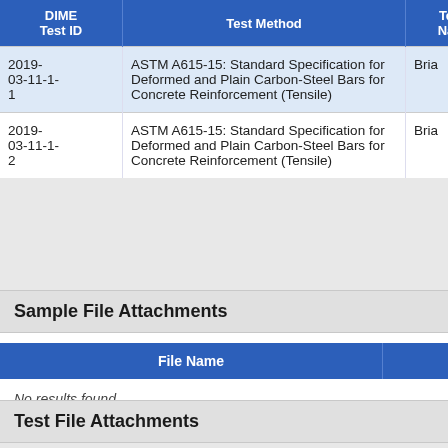| DIME Test ID | Test Method | Te... Na... |
| --- | --- | --- |
| 2019-03-11-1-1 | ASTM A615-15: Standard Specification for Deformed and Plain Carbon-Steel Bars for Concrete Reinforcement (Tensile) | Bria... |
| 2019-03-11-1-2 | ASTM A615-15: Standard Specification for Deformed and Plain Carbon-Steel Bars for Concrete Reinforcement (Tensile) | Bria... |
Sample File Attachments
| File Name |  |
| --- | --- |
No results found.
Test File Attachments